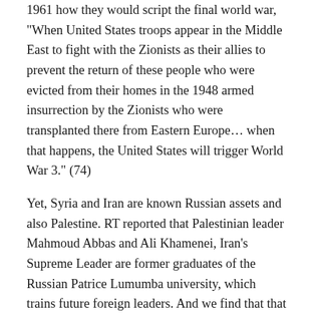1961 how they would script the final world war, "When United States troops appear in the Middle East to fight with the Zionists as their allies to prevent the return of these people who were evicted from their homes in the 1948 armed insurrection by the Zionists who were transplanted there from Eastern Europe… when that happens, the United States will trigger World War 3." (74)
Yet, Syria and Iran are known Russian assets and also Palestine. RT reported that Palestinian leader Mahmoud Abbas and Ali Khamenei, Iran's Supreme Leader are former graduates of the Russian Patrice Lumumba university, which trains future foreign leaders. And we find that that Israel established Hezbollah and Hamas and Turkish President Tayyip Erdogan is possibly a crypto-Jew. (75) So the synagogue have the control to ensure the conflict is managed to the 'Greater Israel' objective. Also, they will also facilitate the presidents dialogue as the forces